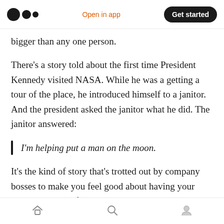Open in app  Get started
bigger than any one person.
There’s a story told about the first time President Kennedy visited NASA. While he was a getting a tour of the place, he introduced himself to a janitor. And the president asked the janitor what he did. The janitor answered:
I’m helping put a man on the moon.
It’s the kind of story that’s trotted out by company bosses to make you feel good about having your labour exploited for the team. But
home  search  profile